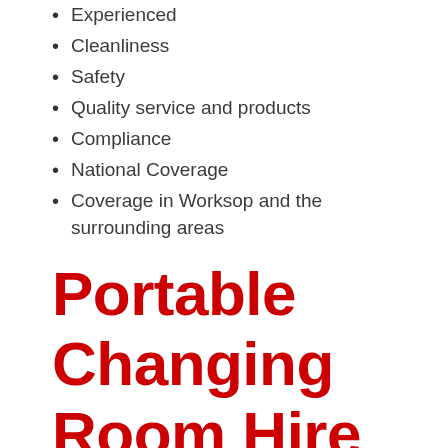Experienced
Cleanliness
Safety
Quality service and products
Compliance
National Coverage
Coverage in Worksop and the surrounding areas
Portable Changing Room Hire in Worksop
Configured for team or individual sports Waste King offer specially designed well-equipped portable changing rooms
Our Portaloo buildings are spacious and well equipped, ideal if you need to provide changing facilities at a park, leisure